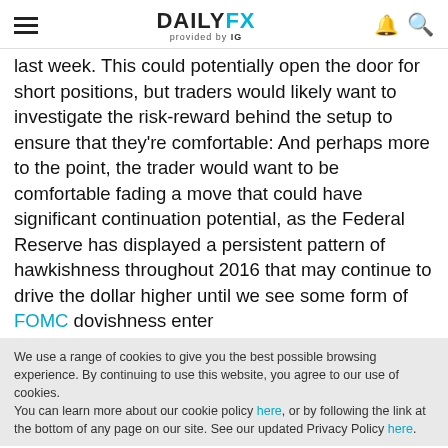DAILYFX provided by IG
last week. This could potentially open the door for short positions, but traders would likely want to investigate the risk-reward behind the setup to ensure that they're comfortable: And perhaps more to the point, the trader would want to be comfortable fading a move that could have significant continuation potential, as the Federal Reserve has displayed a persistent pattern of hawkishness throughout 2016 that may continue to drive the dollar higher until we see some form of FOMC dovishness enter
We use a range of cookies to give you the best possible browsing experience. By continuing to use this website, you agree to our use of cookies.
You can learn more about our cookie policy here, or by following the link at the bottom of any page on our site. See our updated Privacy Policy here.
Accept